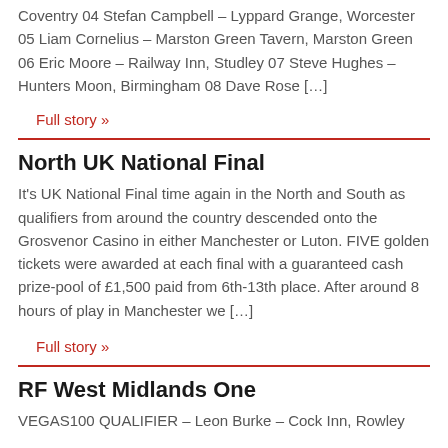Coventry 04 Stefan Campbell – Lyppard Grange, Worcester 05 Liam Cornelius – Marston Green Tavern, Marston Green 06 Eric Moore – Railway Inn, Studley 07 Steve Hughes – Hunters Moon, Birmingham 08 Dave Rose […]
Full story »
North UK National Final
It's UK National Final time again in the North and South as qualifiers from around the country descended onto the Grosvenor Casino in either Manchester or Luton. FIVE golden tickets were awarded at each final with a guaranteed cash prize-pool of £1,500 paid from 6th-13th place. After around 8 hours of play in Manchester we […]
Full story »
RF West Midlands One
VEGAS100 QUALIFIER – Leon Burke – Cock Inn, Rowley